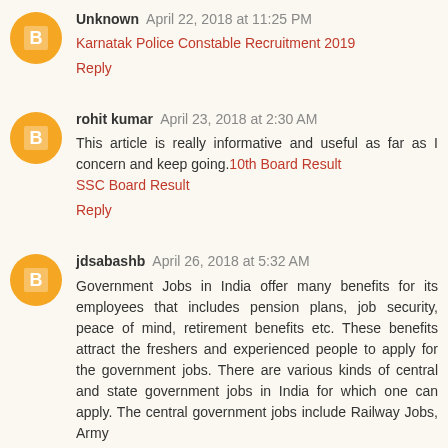Unknown  April 22, 2018 at 11:25 PM
Karnatak Police Constable Recruitment 2019
Reply
rohit kumar  April 23, 2018 at 2:30 AM
This article is really informative and useful as far as I concern and keep going.10th Board Result
SSC Board Result
Reply
jdsabashb  April 26, 2018 at 5:32 AM
Government Jobs in India offer many benefits for its employees that includes pension plans, job security, peace of mind, retirement benefits etc. These benefits attract the freshers and experienced people to apply for the government jobs. There are various kinds of central and state government jobs in India for which one can apply. The central government jobs include Railway Jobs, Army